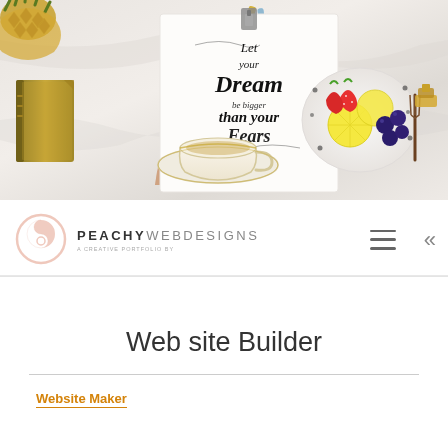[Figure (photo): Hero banner photo of a marble surface with hands holding a calligraphy card reading 'Let your Dream be bigger than your Fears', a gold journal, a cup of tea on a saucer, a plate of strawberries, lemon slices and blueberries, pencils, and a pineapple in the corner.]
[Figure (logo): Peachy Web Designs logo: overlapping circle outline in pinkish-coral with a circle/yin-yang shape, text 'PEACHY WEB DESIGNS' and tagline below]
PEACHY WEB DESIGNS
Web site Builder
Website Maker